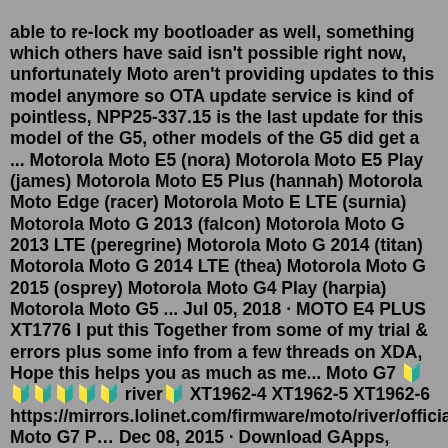able to re-lock my bootloader as well, something which others have said isn't possible right now, unfortunately Moto aren't providing updates to this model anymore so OTA update service is kind of pointless, NPP25-337.15 is the last update for this model of the G5, other models of the G5 did get a ... Motorola Moto E5 (nora) Motorola Moto E5 Play (james) Motorola Moto E5 Plus (hannah) Motorola Moto Edge (racer) Motorola Moto E LTE (surnia) Motorola Moto G 2013 (falcon) Motorola Moto G 2013 LTE (peregrine) Motorola Moto G 2014 (titan) Motorola Moto G 2014 LTE (thea) Motorola Moto G 2015 (osprey) Motorola Moto G4 Play (harpia) Motorola Moto G5 ... Jul 05, 2018 · MOTO E4 PLUS XT1776 I put this Together from some of my trial & errors plus some info from a few threads on XDA, Hope this helps you as much as me... Moto G7 🔰🔰🔰🔰🔰🔰 river🔰 XT1962-4 XT1962-5 XT1962-6 https://mirrors.lolinet.com/firmware/moto/river/official Moto G7 P… Dec 08, 2015 · Download GApps, Roms, Kernels, Themes, Firmware, and more. Free file